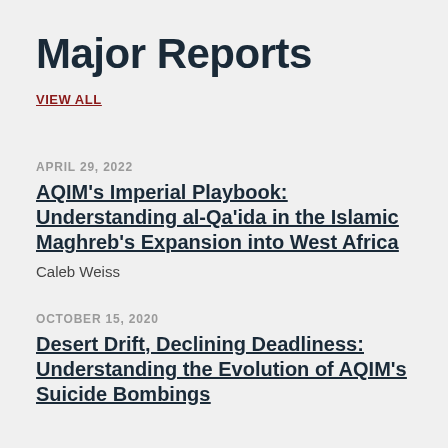Major Reports
VIEW ALL
APRIL 29, 2022
AQIM's Imperial Playbook: Understanding al-Qa'ida in the Islamic Maghreb's Expansion into West Africa
Caleb Weiss
OCTOBER 15, 2020
Desert Drift, Declining Deadliness: Understanding the Evolution of AQIM's Suicide Bombings